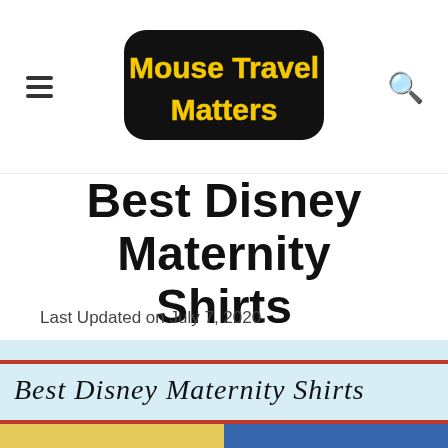Mouse Travel Matters
Best Disney Maternity Shirts
Last Updated on July 7, 2020
[Figure (photo): Featured image for Best Disney Maternity Shirts article showing two Disney-themed maternity shirts: a yellow shirt reading 'Beauty and the Bump' and a blue shirt reading 'Beast Behind the Bump', on a light blue background with red stripes and handwritten-style banner text.]